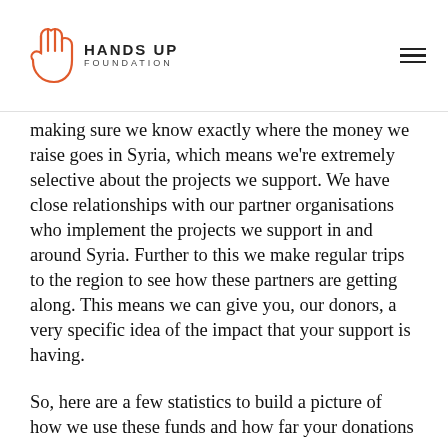HANDS UP FOUNDATION
making sure we know exactly where the money we raise goes in Syria, which means we're extremely selective about the projects we support. We have close relationships with our partner organisations who implement the projects we support in and around Syria. Further to this we make regular trips to the region to see how these partners are getting along. This means we can give you, our donors, a very specific idea of the impact that your support is having.
So, here are a few statistics to build a picture of how we use these funds and how far your donations go.
For instance, £25 will pay for school bags, kitted out with educational supplies, for three children